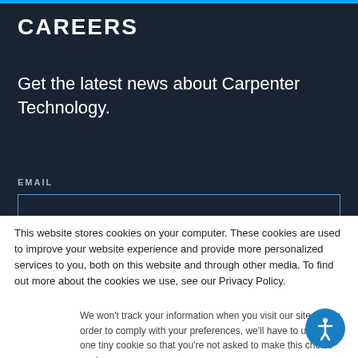CAREERS
Get the latest news about Carpenter Technology.
EMAIL
This website stores cookies on your computer. These cookies are used to improve your website experience and provide more personalized services to you, both on this website and through other media. To find out more about the cookies we use, see our Privacy Policy.
We won't track your information when you visit our site. But in order to comply with your preferences, we'll have to use just one tiny cookie so that you're not asked to make this choice again.
Accept
Decline